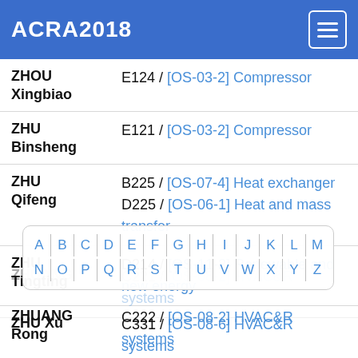ACRA2018
ZHOU Xingbiao — E124 / [OS-03-2] Compressor
ZHU Binsheng — E121 / [OS-03-2] Compressor
ZHU Qifeng — B225 / [OS-07-4] Heat exchanger; D225 / [OS-06-1] Heat and mass transfer
ZHU Tingting — D214 / [OS-11-3] Renewable and new energy
ZHU Xu — C331 / [OS-08-6] HVAC&R systems
ZHUANG — B321 / [OS-07-4] Heat exchanger
ZHUANG — C221 / [OS-08-2] HVAC&R systems
ZHUANG Rong — C222 / [OS-08-2] HVAC&R systems